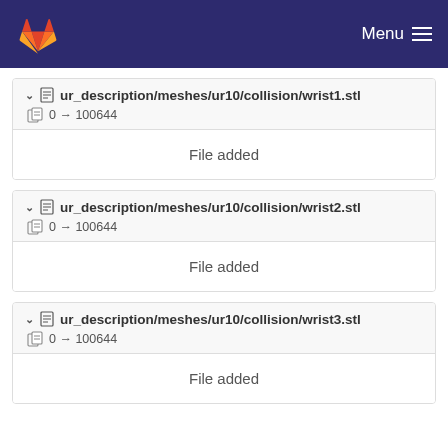Menu
ur_description/meshes/ur10/collision/wrist1.stl
0 → 100644
File added
ur_description/meshes/ur10/collision/wrist2.stl
0 → 100644
File added
ur_description/meshes/ur10/collision/wrist3.stl
0 → 100644
File added